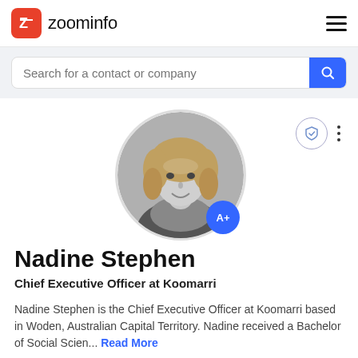[Figure (logo): ZoomInfo logo with red square icon containing a Z symbol and 'zoominfo' text]
[Figure (screenshot): Search bar with placeholder 'Search for a contact or company' and blue search button]
[Figure (photo): Black and white circular profile photo of Nadine Stephen, a woman with curly blonde hair, with blue A+ badge overlay]
Nadine Stephen
Chief Executive Officer at Koomarri
Nadine Stephen is the Chief Executive Officer at Koomarri based in Woden, Australian Capital Territory. Nadine received a Bachelor of Social Scien... Read More